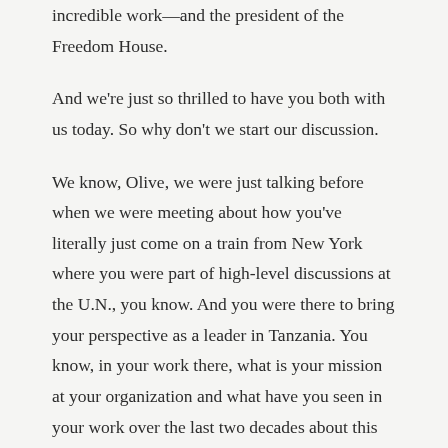incredible work—and the president of the Freedom House.
And we're just so thrilled to have you both with us today. So why don't we start our discussion.
We know, Olive, we were just talking before when we were meeting about how you've literally just come on a train from New York where you were part of high-level discussions at the U.N., you know. And you were there to bring your perspective as a leader in Tanzania. You know, in your work there, what is your mission at your organization and what have you seen in your work over the last two decades about this issue of bringing together a focus on adolescent girls, preventing gender-based violence,